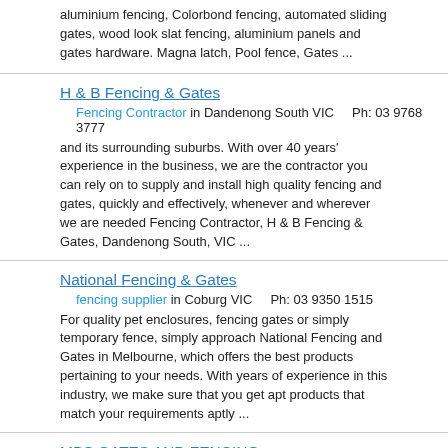aluminium fencing, Colorbond fencing, automated sliding gates, wood look slat fencing, aluminium panels and gates hardware. Magna latch, Pool fence, Gates ...
H & B Fencing & Gates
Fencing Contractor in Dandenong South VIC    Ph: 03 9768 3777
and its surrounding suburbs. With over 40 years' experience in the business, we are the contractor you can rely on to supply and install high quality fencing and gates, quickly and effectively, whenever and wherever we are needed Fencing Contractor, H & B Fencing & Gates, Dandenong South, VIC ...
National Fencing & Gates
fencing supplier in Coburg VIC    Ph: 03 9350 1515
For quality pet enclosures, fencing gates or simply temporary fence, simply approach National Fencing and Gates in Melbourne, which offers the best products pertaining to your needs. With years of experience in this industry, we make sure that you get apt products that match your requirements aptly ...
MBS GATES AND FENCING
Fencing Contractor Sydney in Southern River WA    Ph: 0421381334
MBS Gates and Fencing construction is owned and operated by a qualified carpenter who strives to transform average spaces into something special and meaningful to his clients. We take pride in our work and instil...